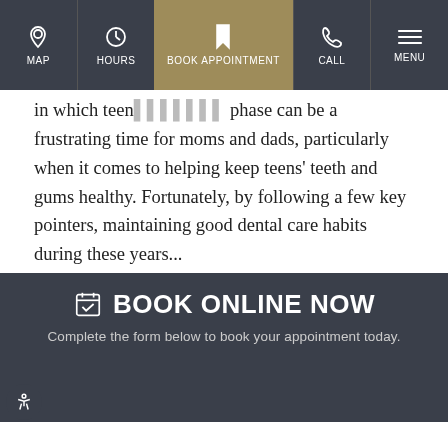MAP | HOURS | BOOK APPOINTMENT | CALL | MENU
in which teen ... phase can be a frustrating time for moms and dads, particularly when it comes to helping keep teens' teeth and gums healthy. Fortunately, by following a few key pointers, maintaining good dental care habits during these years...
CONTINUE READING
OLDER POSTS
BOOK ONLINE NOW
Complete the form below to book your appointment today.